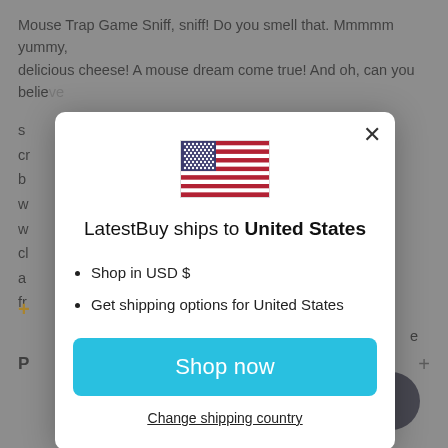Mouse Trap Game Sniff, sniff! Do you smell that. Mmmmm yummy, delicious cheese! A mouse dream come true! And oh, can you believe s... cr... b... w... w... cl... a... fr...
[Figure (screenshot): Modal dialog on a website showing LatestBuy ships to United States, with US flag, bullet points for Shop in USD $ and Get shipping options for United States, a Shop now button, and a Change shipping country link]
LatestBuy ships to United States
Shop in USD $
Get shipping options for United States
Shop now
Change shipping country